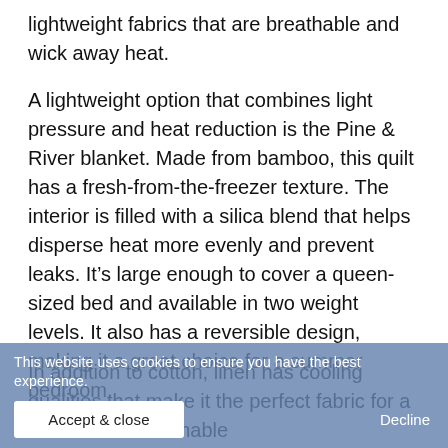lightweight fabrics that are breathable and wick away heat.
A lightweight option that combines light pressure and heat reduction is the Pine & River blanket. Made from bamboo, this quilt has a fresh-from-the-freezer texture. The interior is filled with a silica blend that helps disperse heat more evenly and prevent leaks. It’s large enough to cover a queen-sized bed and available in two weight levels. It also has a reversible design, making it a great choice for a summer bedroom.
In addition to cotton, linen has cooling qualities that make it the perfect fabric for a summer [ber is more breathable
This website uses cookies to ensure you have the best experience.